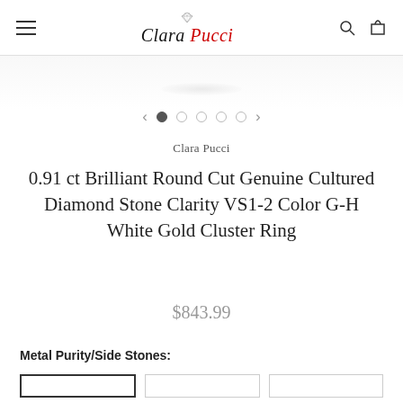Clara Pucci (logo with hamburger menu, search icon, cart icon)
[Figure (screenshot): Image carousel navigation with left arrow, 5 dots (first active), right arrow]
Clara Pucci
0.91 ct Brilliant Round Cut Genuine Cultured Diamond Stone Clarity VS1-2 Color G-H White Gold Cluster Ring
$843.99
Metal Purity/Side Stones: